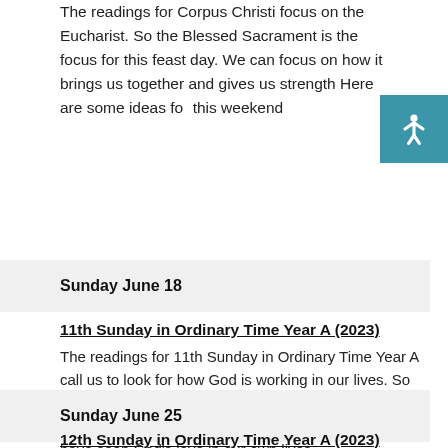The readings for Corpus Christi focus on the Eucharist. So the Blessed Sacrament is the focus for this feast day. We can focus on how it brings us together and gives us strength Here are some ideas for this weekend
Sunday June 18
11th Sunday in Ordinary Time Year A (2023)
The readings for 11th Sunday in Ordinary Time Year A call us to look for how God is working in our lives. So discipleship and service are topics for this weekend. We could also spend some time thinking about how we have seen God's love in our own lives.
Sunday June 25
12th Sunday in Ordinary Time Year A (2023)